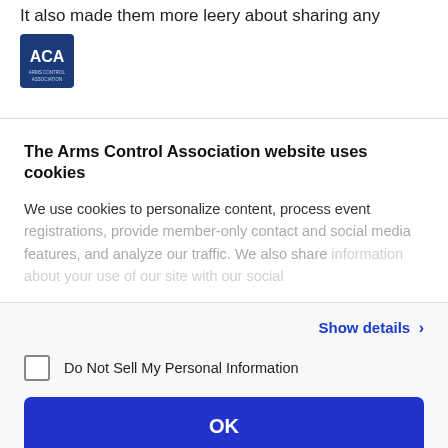It also made them more leery about sharing any
[Figure (logo): ACA logo - blue square with ACA text in white]
The Arms Control Association website uses cookies
We use cookies to personalize content, process event registrations, provide member-only contact and social media features, and analyze our traffic. We also share information about your use of our site with our social
Show details >
Do Not Sell My Personal Information
OK
Powered by Cookiebot by Usercentrics
intelligence community. To tellhistor...